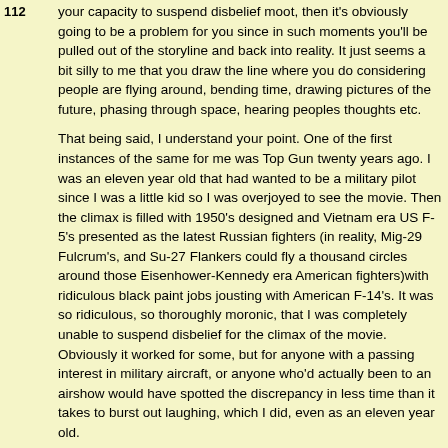your capacity to suspend disbelief moot, then it's obviously going to be a problem for you since in such moments you'll be pulled out of the storyline and back into reality. It just seems a bit silly to me that you draw the line where you do considering people are flying around, bending time, drawing pictures of the future, phasing through space, hearing peoples thoughts etc.
That being said, I understand your point. One of the first instances of the same for me was Top Gun twenty years ago. I was an eleven year old that had wanted to be a military pilot since I was a little kid so I was overjoyed to see the movie. Then the climax is filled with 1950's designed and Vietnam era US F-5's presented as the latest Russian fighters (in reality, Mig-29 Fulcrum's, and Su-27 Flankers could fly a thousand circles around those Eisenhower-Kennedy era American fighters)with ridiculous black paint jobs jousting with American F-14's. It was so ridiculous, so thoroughly moronic, that I was completely unable to suspend disbelief for the climax of the movie. Obviously it worked for some, but for anyone with a passing interest in military aircraft, or anyone who'd actually been to an airshow would have spotted the discrepancy in less time than it takes to burst out laughing, which I did, even as an eleven year old.
So yes, I understand where you're coming from, I just think its a bit weird to call them on this when this show is built on the premise that the rules of science as we understand them, will be broken from litterally second to